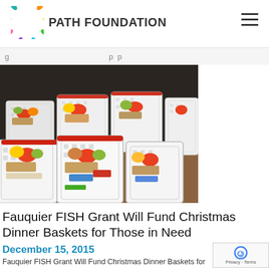PATH FOUNDATION
g                                                    p p
[Figure (photo): Multiple white plastic laundry-style baskets filled with Christmas dinner food items including fruits, vegetables, canned goods, and holiday treats, arranged on a table.]
Fauquier FISH Grant Will Fund Christmas Dinner Baskets for Those in Need
December 15, 2015
Fauquier FISH Grant Will Fund Christmas Dinner Baskets for Those in Need December 15, 2016 — The Fauquier Health